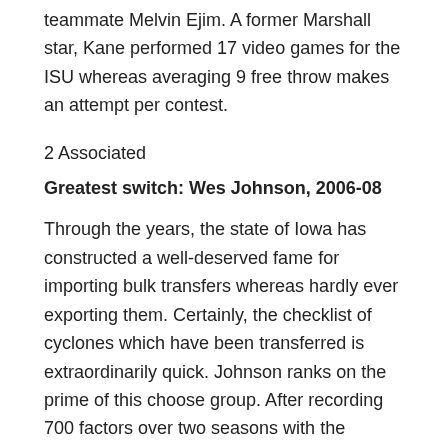teammate Melvin Ejim. A former Marshall star, Kane performed 17 video games for the ISU whereas averaging 9 free throw makes an attempt per contest.
2 Associated
Greatest switch: Wes Johnson, 2006-08
Through the years, the state of Iowa has constructed a well-deserved fame for importing bulk transfers whereas hardly ever exporting them. Certainly, the checklist of cyclones which have been transferred is extraordinarily quick. Johnson ranks on the prime of this choose group. After recording 700 factors over two seasons with the Cyclones, Johnson earned first-team All-American honors because the main scorer on a No. 1-ranked Syracuse group in 2010.